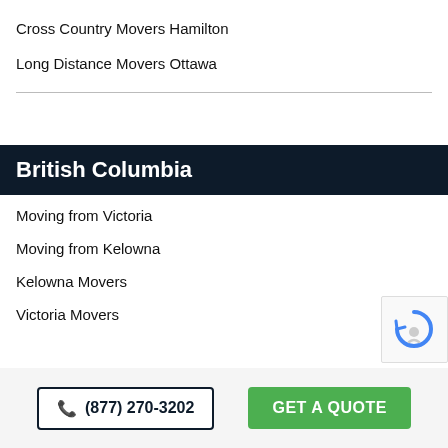Cross Country Movers Hamilton
Long Distance Movers Ottawa
British Columbia
Moving from Victoria
Moving from Kelowna
Kelowna Movers
Victoria Movers
(877) 270-3202
GET A QUOTE